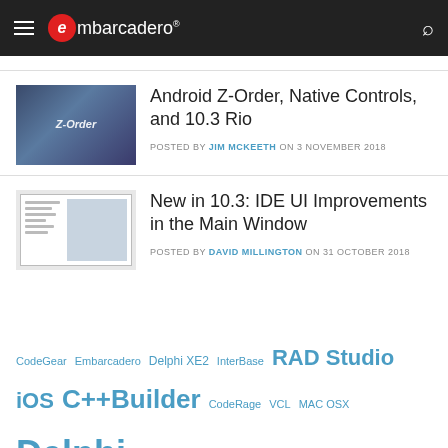embarcadero
Android Z-Order, Native Controls, and 10.3 Rio
POSTED BY JIM MCKEETH ON 3 NOVEMBER 2018
New in 10.3: IDE UI Improvements in the Main Window
POSTED BY DAVID MILLINGTON ON 31 OCTOBER 2018
CodeGear Embarcadero Delphi XE2 InterBase RAD Studio iOS C++Builder CodeRage VCL MAC OSX Delphi Mobile iPhone Windows